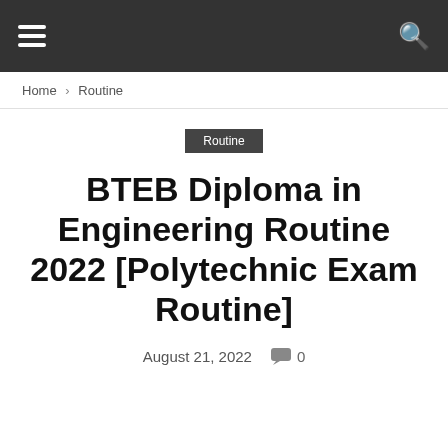Navigation bar with hamburger menu and search icon
Home › Routine
Routine
BTEB Diploma in Engineering Routine 2022 [Polytechnic Exam Routine]
August 21, 2022   💬 0